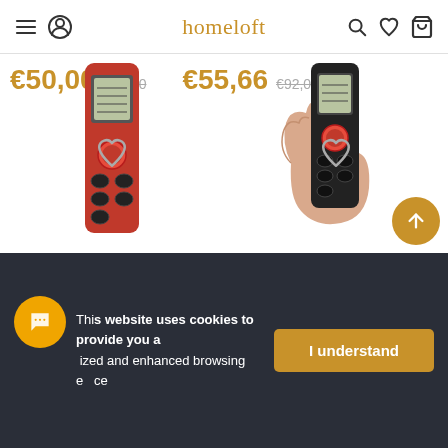homeloft
€50,00  €82,00   €55,66  €92,00
[Figure (photo): Two laser distance measuring devices: a red one on the left and a black one held in a hand on the right, shown on a white background.]
This website uses cookies to provide you a personalized and enhanced browsing experience
I understand